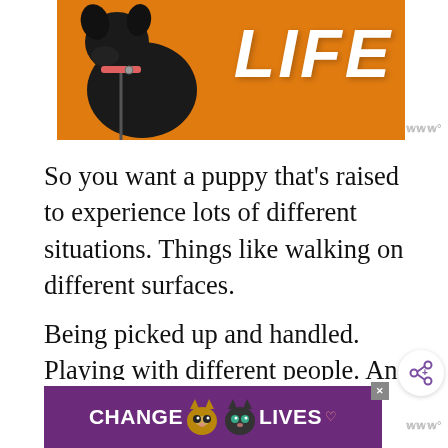[Figure (illustration): Top banner image showing a black dog with orange collar/leash on an orange background with the word LIFE in large white italic letters. A small mute/sound icon (www with degree symbol) is visible at bottom right of the image.]
So you want a puppy that's raised to experience lots of different situations.  Things like walking on different surfaces.
Being picked up and handled.  Playing with different people. And a variety of different smells, sounds, and sights.
All of this plays a big role in developing their self-confidence and their future training.
[Figure (advertisement): Bottom advertisement banner with purple background showing the text CHANGE LIVES with two cat face illustrations in the middle. An X close button is visible at the top right of the ad. A small mute/sound icon is visible to the right of the banner.]